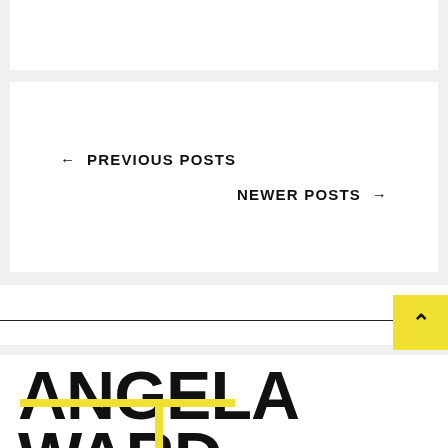← PREVIOUS POSTS
NEWER POSTS →
ANGELA WARD